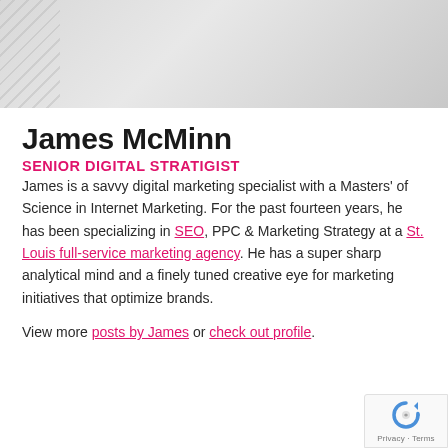[Figure (photo): Gray hero image placeholder with diagonal hatching on the left side]
James McMinn
SENIOR DIGITAL STRATIGIST
James is a savvy digital marketing specialist with a Masters' of Science in Internet Marketing. For the past fourteen years, he has been specializing in SEO, PPC & Marketing Strategy at a St. Louis full-service marketing agency. He has a super sharp analytical mind and a finely tuned creative eye for marketing initiatives that optimize brands.
View more posts by James or check out profile.